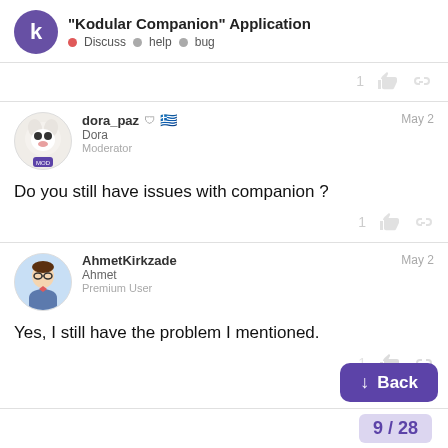"Kodular Companion" Application · Discuss · help · bug
1 [like] [link]
dora_paz Dora Moderator — May 2
Do you still have issues with companion ?
1 [like] [link]
AhmetKirkzade Ahmet Premium User — May 2
Yes, I still have the problem I mentioned.
1 [like] [link]
↓ Back
9 / 28